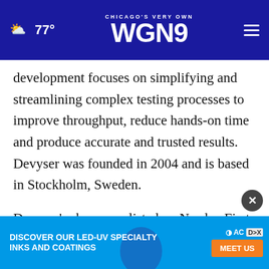77° CHICAGO'S VERY OWN WGN9
development focuses on simplifying and streamlining complex testing processes to improve throughput, reduce hands-on time and produce accurate and trusted results. Devyser was founded in 2004 and is based in Stockholm, Sweden.
Devyser's shares are listed on Nasdaq First North Growth Market Stockholm (ticker: DVYSR). The company's Certified Adviser is Redeye AB (www.redeye.se, certifiedadviser@redeve.se and telephone
[Figure (screenshot): Advertisement overlay: DISCOVER OUR LED-UV SPECIALTY INKS AND COATINGS with MEET US button]